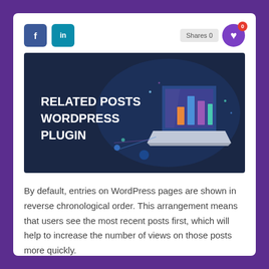[Figure (illustration): Social share buttons: Facebook (blue) and LinkedIn (teal), with Shares 0 label and a purple heart icon with red 0 badge]
[Figure (illustration): Banner image with dark navy background showing text RELATED POSTS WORDPRESS PLUGIN on left and a 3D isometric laptop with colorful bar charts on right]
By default, entries on WordPress pages are shown in reverse chronological order. This arrangement means that users see the most recent posts first, which will help to increase the number of views on those posts more quickly.
The issue is that if your blog has a lot of